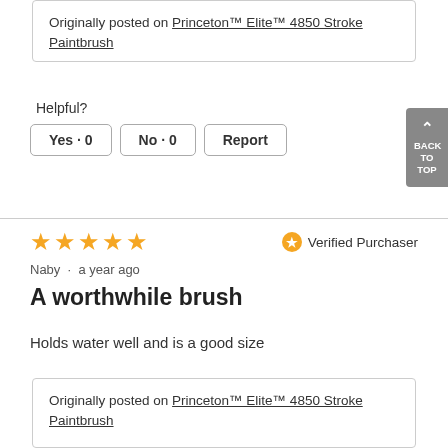Originally posted on Princeton™ Elite™ 4850 Stroke Paintbrush
Helpful?
Yes · 0   No · 0   Report
★★★★★  Verified Purchaser
Naby · a year ago
A worthwhile brush
Holds water well and is a good size
Originally posted on Princeton™ Elite™ 4850 Stroke Paintbrush